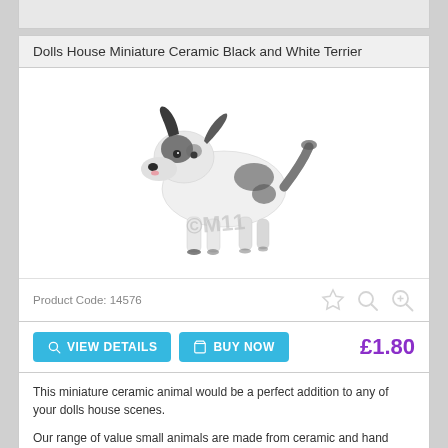Dolls House Miniature Ceramic Black and White Terrier
[Figure (photo): A ceramic black and white terrier dog miniature figurine, hand painted, shown against a white background with a faint watermark.]
Product Code: 14576
VIEW DETAILS   BUY NOW   £1.80
This miniature ceramic animal would be a perfect addition to any of your dolls house scenes.

Our range of value small animals are made from ceramic and hand painted.